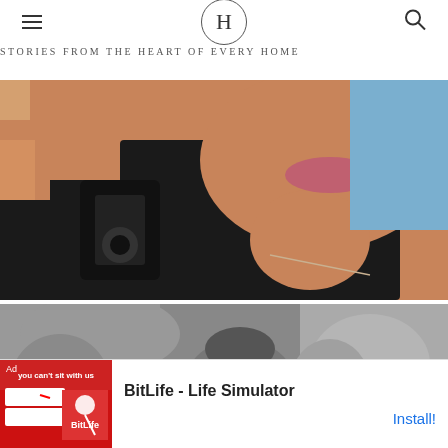H — STORIES FROM THE HEART OF EVERY HOME
[Figure (photo): Close-up color photo of a woman in a black sleeveless top holding a camera, her chin and lips visible, with a necklace and blue background]
[Figure (photo): Black and white photo of a woman holding a baby or small child close to her face outdoors near hedges]
[Figure (screenshot): Advertisement banner for BitLife - Life Simulator app with red background graphic on left and install button on right]